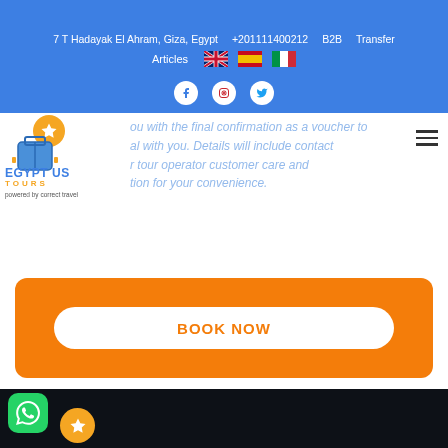7 T Hadayak El Ahram, Giza, Egypt  +201111400212  B2B  Transfer  Articles
[Figure (logo): Egypt US Tours logo with star icon and suitcase graphic, powered by correct travel]
...ou with the final confirmation as a voucher to ... with you. Details will include contact ...r tour operator customer care and ...tion for your convenience.
BOOK NOW
[Figure (screenshot): WhatsApp contact button in bottom dark footer area with Egypt US Tours logo partially visible]